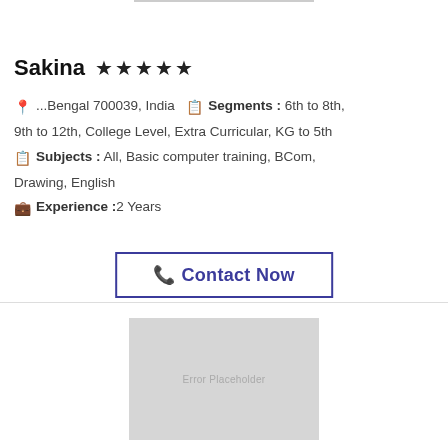Sakina ★★★★★
📍 ...Bengal 700039, India   🗒 Segments : 6th to 8th, 9th to 12th, College Level, Extra Curricular, KG to 5th
🗒 Subjects : All, Basic computer training, BCom, Drawing, English
💼 Experience :2 Years
📞 Contact Now
[Figure (other): Error Placeholder image box (gray rectangle)]